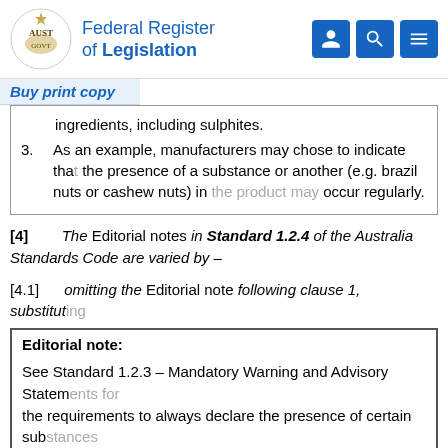Federal Register of Legislation
Buy print copy
ingredients, including sulphites.
3.  As an example, manufacturers may chose to indicate that the presence of a substance or another (e.g. brazil nuts or cashew nuts) in the product may occur regularly.
[4]   The Editorial notes in Standard 1.2.4 of the Australia New Zealand Food Standards Code are varied by –
[4.1]  omitting the Editorial note following clause 1, substituting
Editorial note:
See Standard 1.2.3 – Mandatory Warning and Advisory Statements for the requirements to always declare the presence of certain substances